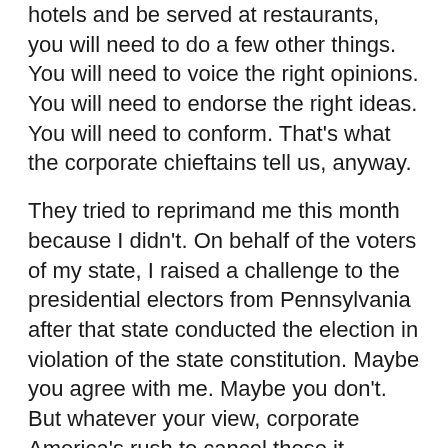hotels and be served at restaurants, you will need to do a few other things. You will need to voice the right opinions. You will need to endorse the right ideas. You will need to conform. That's what the corporate chieftains tell us, anyway.
They tried to reprimand me this month because I didn't. On behalf of the voters of my state, I raised a challenge to the presidential electors from Pennsylvania after that state conducted the election in violation of the state constitution. Maybe you agree with me. Maybe you don't. But whatever your view, corporate America's rush to cancel those it dislikes should trouble you.
In my case, it started with leftist politicians demanding I resign from office for representing the views of my constituents and leading a democratic debate on the floor of the Senate.
Taking that cue, a corporate publishing house then